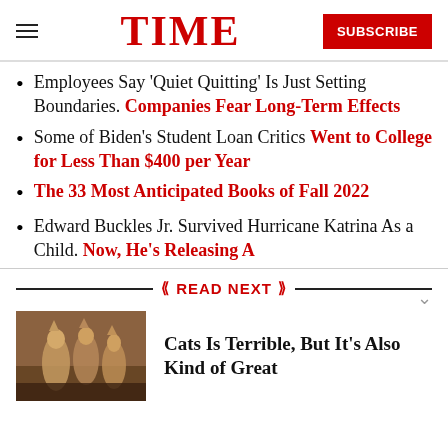TIME — SUBSCRIBE
Employees Say 'Quiet Quitting' Is Just Setting Boundaries. Companies Fear Long-Term Effects
Some of Biden's Student Loan Critics Went to College for Less Than $400 per Year
The 33 Most Anticipated Books of Fall 2022
Edward Buckles Jr. Survived Hurricane Katrina As a Child. Now, He's Releasing A
READ NEXT
Cats Is Terrible, But It's Also Kind of Great
[Figure (photo): Movie still from Cats showing performers in cat costumes on a dark stage]